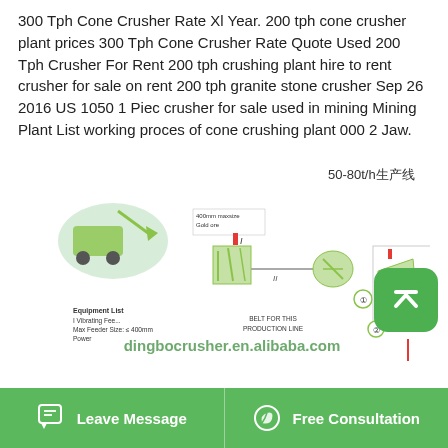300 Tph Cone Crusher Rate Xl Year. 200 tph cone crusher plant prices 300 Tph Cone Crusher Rate Quote Used 200 Tph Crusher For Rent 200 tph crushing plant hire to rent crusher for sale on rent 200 tph granite stone crusher Sep 26 2016 US 1050 1 Piec crusher for sale used in mining Mining Plant List working proces of cone crushing plant 000 2 Jaw.
[Figure (schematic): Diagram of a 50-80t/h stone crushing production line showing vibratory feeder, jaw crushers (I, II, III), conveyor belts, and equipment list with text '50-80t/h生产线' and watermark 'dingbocrusher.en.alibaba.com'. Equipment List: I Vibrating Feeder, Max Feeder Size ≤ 400mm, Power listed. Belt for this production line noted.]
Leave Message   Free Consultation